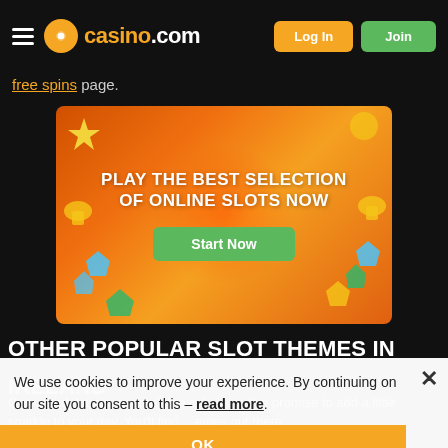casino.com  Log In  Join
free spins page.
[Figure (illustration): Orange promotional banner with casino slot imagery: stars, bells, gems, diamonds. Text reads: PLAY THE BEST SELECTION OF ONLINE SLOTS NOW. Green Start Now button.]
OTHER POPULAR SLOT THEMES IN
IRELAND
Gems and diamonds aren't the only slots that promise to add a little sparkle to your day. You'll fin… emes out there,
We use cookies to improve your experience. By continuing on our site you consent to this – read more.
OK